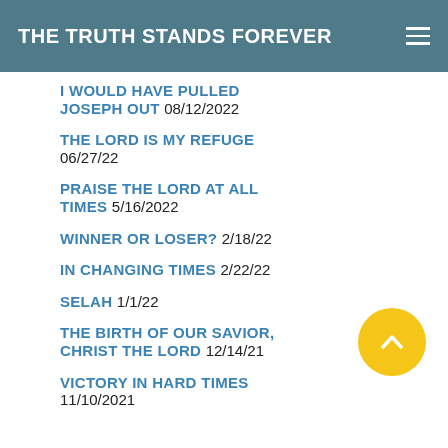THE TRUTH STANDS FOREVER
I WOULD HAVE PULLED JOSEPH OUT 08/12/2022
THE LORD IS MY REFUGE 06/27/22
PRAISE THE LORD AT ALL TIMES 5/16/2022
WINNER OR LOSER? 2/18/22
IN CHANGING TIMES 2/22/22
SELAH 1/1/22
THE BIRTH OF OUR SAVIOR, CHRIST THE LORD 12/14/21
VICTORY IN HARD TIMES 11/10/2021